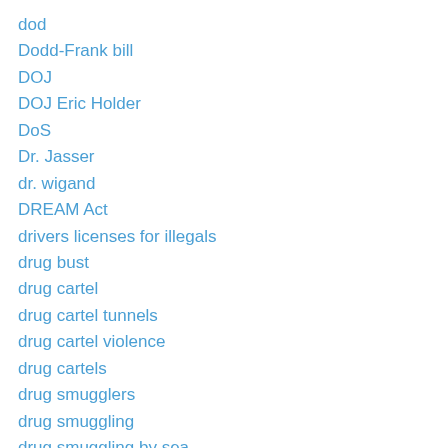dod
Dodd-Frank bill
DOJ
DOJ Eric Holder
DoS
Dr. Jasser
dr. wigand
DREAM Act
drivers licenses for illegals
drug bust
drug cartel
drug cartel tunnels
drug cartel violence
drug cartels
drug smugglers
drug smuggling
drug smuggling by sea
drug smuggling tunnels
drug smuuglers
drug trafficking